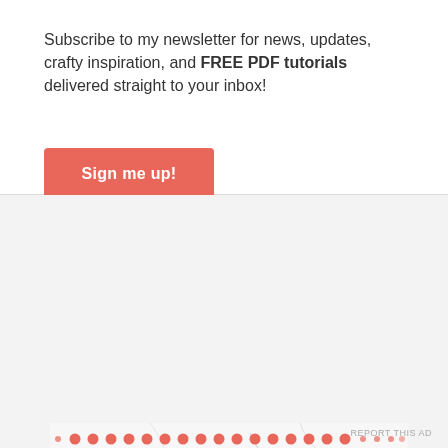Subscribe to my newsletter for news, updates, crafty inspiration, and FREE PDF tutorials delivered straight to your inbox!
Sign me up!
[Figure (illustration): Host Code promotional banner with marble background, pink/red dotted border at top, large italic script text reading 'Host Code:' and a red bar at the bottom with partially visible code text]
Advertisements
REPORT THIS AD